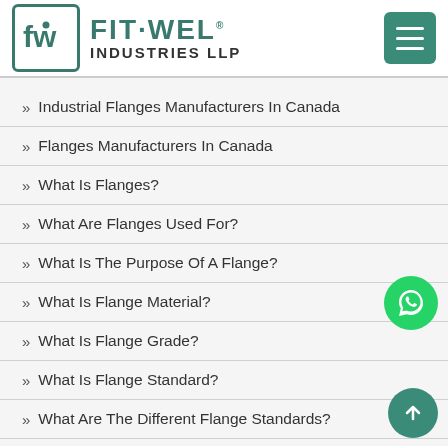[Figure (logo): Fit-Wel Industries LLP logo with teal/green brand colors, hamburger menu button top right]
» Industrial Flanges Manufacturers In Canada
» Flanges Manufacturers In Canada
» What Is Flanges?
» What Are Flanges Used For?
» What Is The Purpose Of A Flange?
» What Is Flange Material?
» What Is Flange Grade?
» What Is Flange Standard?
» What Are The Different Flange Standards?